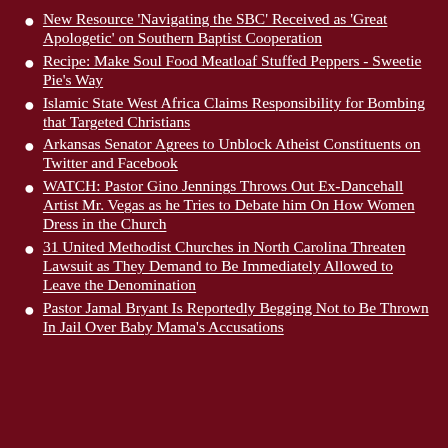New Resource 'Navigating the SBC' Received as 'Great Apologetic' on Southern Baptist Cooperation
Recipe: Make Soul Food Meatloaf Stuffed Peppers - Sweetie Pie's Way
Islamic State West Africa Claims Responsibility for Bombing that Targeted Christians
Arkansas Senator Agrees to Unblock Atheist Constituents on Twitter and Facebook
WATCH: Pastor Gino Jennings Throws Out Ex-Dancehall Artist Mr. Vegas as he Tries to Debate him On How Women Dress in the Church
31 United Methodist Churches in North Carolina Threaten Lawsuit as They Demand to Be Immediately Allowed to Leave the Denomination
Pastor Jamal Bryant Is Reportedly Begging Not to Be Thrown In Jail Over Baby Mama's Accusations